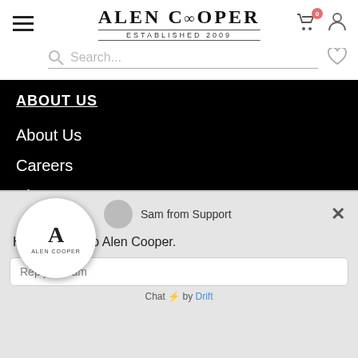[Figure (screenshot): Alen Cooper e-commerce website header with logo, hamburger menu, cart icon, search bar, and navigation section showing ABOUT US links on black background with a Drift chat popup overlay]
Alen Cooper - Established 2009
ABOUT US
About Us
Careers
Blog
Press
Sitemap
Sam from Support
Hi, Welcome to Alen Cooper.
Reply to Sam
Privacy Policy
Shipping Return and Refund Policy
Layaway
Chat ⚡ by Drift